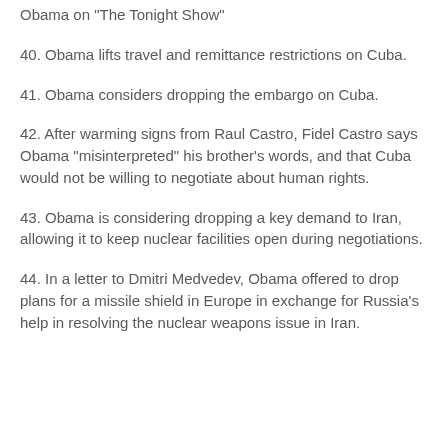Obama on "The Tonight Show"
40. Obama lifts travel and remittance restrictions on Cuba.
41. Obama considers dropping the embargo on Cuba.
42. After warming signs from Raul Castro, Fidel Castro says Obama "misinterpreted" his brother's words, and that Cuba would not be willing to negotiate about human rights.
43. Obama is considering dropping a key demand to Iran, allowing it to keep nuclear facilities open during negotiations.
44. In a letter to Dmitri Medvedev, Obama offered to drop plans for a missile shield in Europe in exchange for Russia's help in resolving the nuclear weapons issue in Iran.